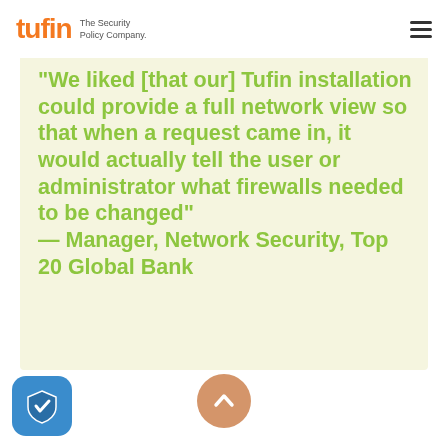tufin — The Security Policy Company.
"We liked [that our] Tufin installation could provide a full network view so that when a request came in, it would actually tell the user or administrator what firewalls needed to be changed" — Manager, Network Security, Top 20 Global Bank